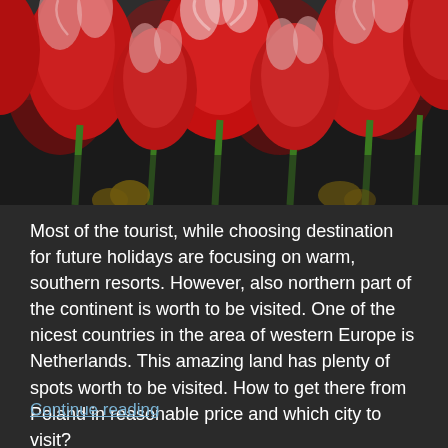[Figure (photo): Close-up photograph of red and white tulips with green stems against a dark background, with some yellow flowers visible in the lower background.]
Most of the tourist, while choosing destination for future holidays are focusing on warm, southern resorts. However, also northern part of the continent is worth to be visited. One of the nicest countries in the area of western Europe is Netherlands. This amazing land has plenty of spots worth to be visited. How to get there from Poland in reasonable price and which city to visit?
Continue reading